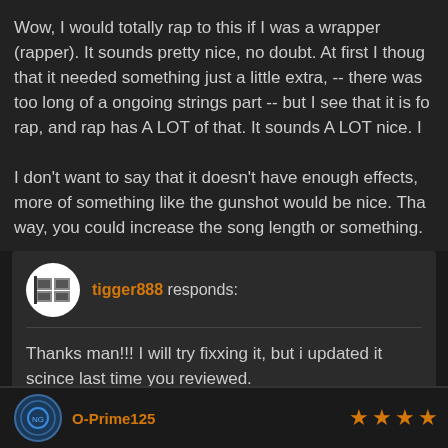Wow, I would totally rap to this if I was a wrapper (rapper). It sounds pretty nice, no doubt. At first I thought that it needed something just a little extra, -- there was too long of a ongoing strings part -- but I see that it is for rap, and rap has A LOT of that. It sounds A LOT nice. I don't want to say that it doesn't have enough effects, more of something like the gunshot would be nice. That way, you could increase the song length or something.
tigger888 responds: Thanks man!!! I will try fixxing it, but i updated it scince last time you reviewed.
O-Prime125